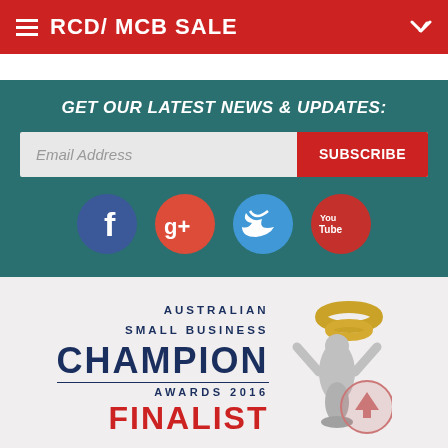RCD/ MCB SALE
GET OUR LATEST NEWS & UPDATES:
Email Address
SUBSCRIBE
[Figure (infographic): Social media icons: Facebook (blue circle with f), Google+ (red circle with g+), Twitter (blue circle with bird), YouTube (red circle with You Tube text)]
[Figure (logo): Australian Small Business Champion Awards 2016 Finalist logo with silver trophy figurine holding gold ring]
MY ACCOUNT